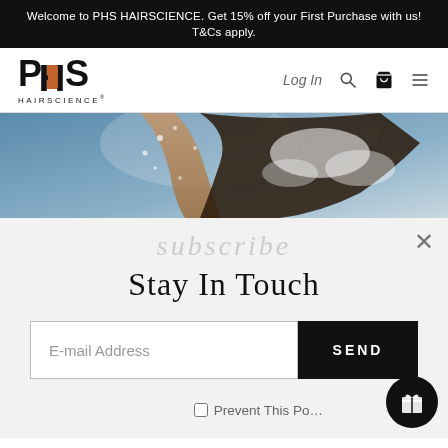Welcome to PHS HAIRSCIENCE. Get 15% off your First Purchase with us! T&Cs apply.
[Figure (screenshot): PHS HAIRSCIENCE website navigation bar with logo, Log In link, search icon, cart icon, and hamburger menu]
[Figure (photo): Person washing hair with shampoo, water and bubbles visible, partial view]
Stay In Touch
E-mail Address
SEND
Prevent This Po...